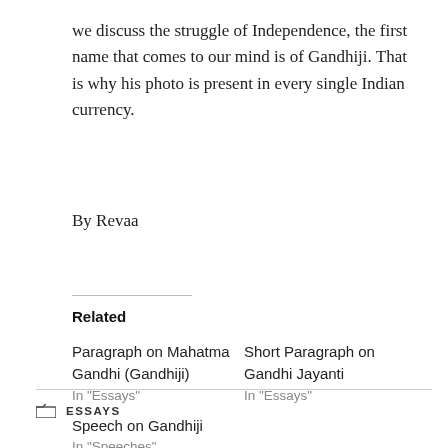we discuss the struggle of Independence, the first name that comes to our mind is of Gandhiji. That is why his photo is present in every single Indian currency.
By Revaa
Related
Paragraph on Mahatma Gandhi (Gandhiji)
In "Essays"
Short Paragraph on Gandhi Jayanti
In "Essays"
Speech on Gandhiji
In "Speeches"
ESSAYS